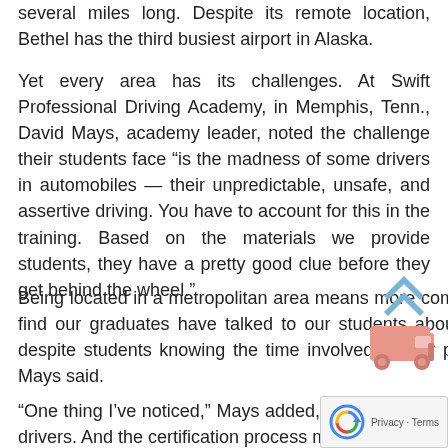several miles long. Despite its remote location, Bethel has the third busiest airport in Alaska.
Yet every area has its challenges. At Swift Professional Driving Academy, in Memphis, Tenn., David Mays, academy leader, noted the challenge their students face “is the madness of some drivers in automobiles — their unpredictable, unsafe, and assertive driving. You have to account for this in the training. Based on the materials we provide students, they have a pretty good clue before they get behind the wheel.”
Being located in a metropolitan area means more competition, more choices. But Mays isn’t concerned. “We find our graduates have talked to our students about the high level of training they’re getting here, and, despite students knowing the time involved for our program is lengthier, word of mouth is drawing them,” Mays said.
“One thing I’ve noticed,” Mays added, “is PTDI has given our program a more solid foundation for entry level drivers. And the certification process makes us better instructors.”
[Figure (illustration): Truck icon (pink/salmon colored) with upward chevron arrows above it, indicating a scroll-to-top button]
[Figure (other): Google reCAPTCHA widget showing a circular arrow icon and Privacy/Terms links]